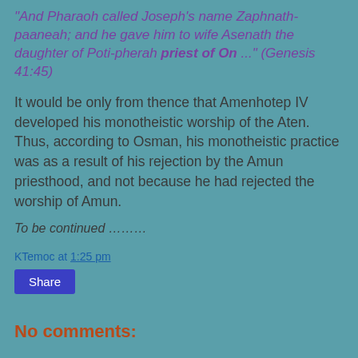"And Pharaoh called Joseph's name Zaphnath-paaneah; and he gave him to wife Asenath the daughter of Poti-pherah priest of On ..." (Genesis 41:45)
It would be only from thence that Amenhotep IV developed his monotheistic worship of the Aten. Thus, according to Osman, his monotheistic practice was as a result of his rejection by the Amun priesthood, and not because he had rejected the worship of Amun.
To be continued ………
KTemoc at 1:25 pm
Share
No comments: